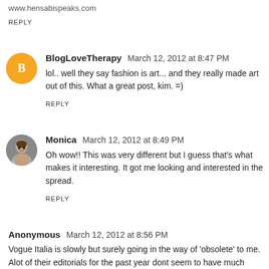www.hensabispeaks.com
REPLY
BlogLoveTherapy  March 12, 2012 at 8:47 PM
lol.. well they say fashion is art... and they really made art out of this. What a great post, kim. =)
REPLY
Monica  March 12, 2012 at 8:49 PM
Oh wow!! This was very different but I guess that's what makes it interesting. It got me looking and interested in the spread.
REPLY
Anonymous  March 12, 2012 at 8:56 PM
Vogue Italia is slowly but surely going in the way of 'obsolete' to me. Alot of their editorials for the past year dont seem to have much substance and are done purely for shock value. Didnt like